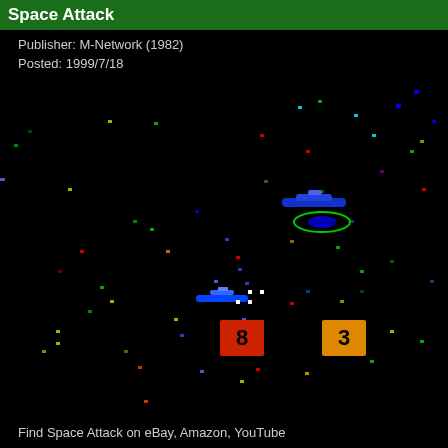Space Attack
Publisher: M-Network (1982)
Posted: 1999/7/18
[Figure (screenshot): Screenshot of the Space Attack Atari game. Black background with colorful pixel dots scattered around representing stars or enemies. Center shows blue spaceship sprites, a green circular object, white pixel bullets. Bottom shows red box with number 8 on left and orange box with number 3 on right (player scores/lives).]
Find Space Attack on eBay, Amazon, YouTube